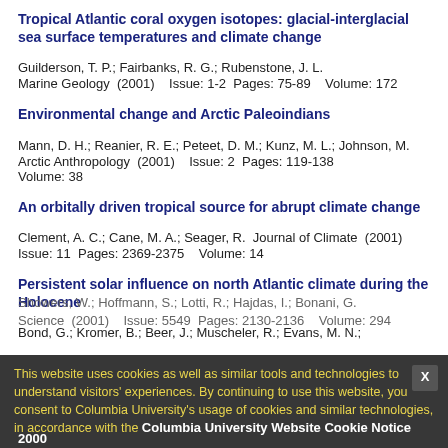Tropical Atlantic coral oxygen isotopes: glacial-interglacial sea surface temperatures and climate change
Guilderson, T. P.; Fairbanks, R. G.; Rubenstone, J. L.
Marine Geology  (2001)    Issue: 1-2  Pages: 75-89    Volume: 172
Environmental change and Arctic Paleoindians
Mann, D. H.; Reanier, R. E.; Peteet, D. M.; Kunz, M. L.; Johnson, M.
Arctic Anthropology  (2001)    Issue: 2  Pages: 119-138  Volume: 38
An orbitally driven tropical source for abrupt climate change
Clement, A. C.; Cane, M. A.; Seager, R.  Journal of Climate  (2001)  Issue: 11  Pages: 2369-2375    Volume: 14
Persistent solar influence on north Atlantic climate during the Holocene
Bond, G.; Kromer, B.; Beer, J.; Muscheler, R.; Evans, M. N.; Showers, W.; Hoffmann, S.; Lotti, R.; Hajdas, I.; Bonani, G.
Science  (2001)    Issue: 5549  Pages: 2130-2136    Volume: 294
2000